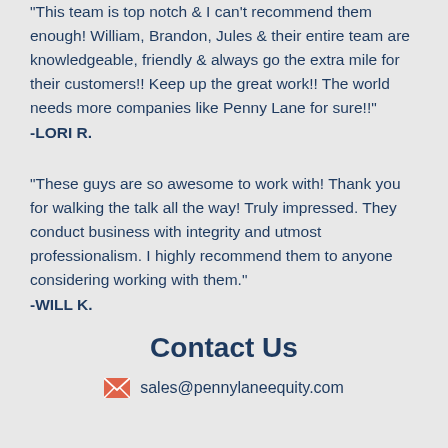"This team is top notch & I can't recommend them enough! William, Brandon, Jules & their entire team are knowledgeable, friendly & always go the extra mile for their customers!! Keep up the great work!! The world needs more companies like Penny Lane for sure!!"
-LORI R.
"These guys are so awesome to work with! Thank you for walking the talk all the way! Truly impressed. They conduct business with integrity and utmost professionalism. I highly recommend them to anyone considering working with them."
-WILL K.
Contact Us
sales@pennylaneequity.com